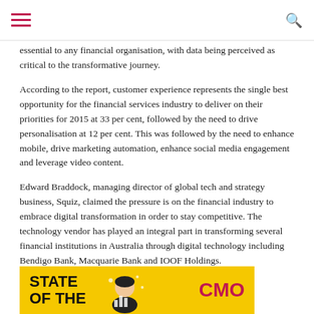Navigation menu and search icon
essential to any financial organisation, with data being perceived as critical to the transformative journey.
According to the report, customer experience represents the single best opportunity for the financial services industry to deliver on their priorities for 2015 at 33 per cent, followed by the need to drive personalisation at 12 per cent. This was followed by the need to enhance mobile, drive marketing automation, enhance social media engagement and leverage video content.
Edward Braddock, managing director of global tech and strategy business, Squiz, claimed the pressure is on the financial industry to embrace digital transformation in order to stay competitive. The technology vendor has played an integral part in transforming several financial institutions in Australia through digital technology including Bendigo Bank, Macquarie Bank and IOOF Holdings.
[Figure (other): Yellow banner advertisement showing 'STATE OF THE' text on the left and 'CMO' in red on the right, with an illustrated figure in the middle, on a yellow background.]